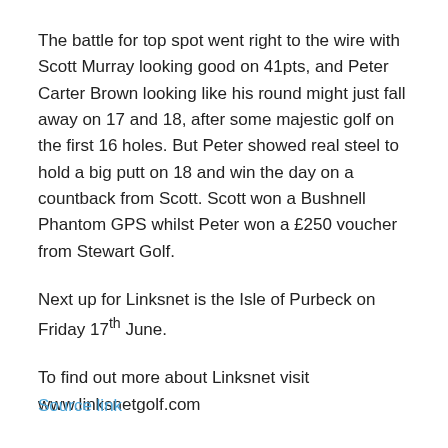The battle for top spot went right to the wire with Scott Murray looking good on 41pts, and Peter Carter Brown looking like his round might just fall away on 17 and 18, after some majestic golf on the first 16 holes. But Peter showed real steel to hold a big putt on 18 and win the day on a countback from Scott. Scott won a Bushnell Phantom GPS whilst Peter won a £250 voucher from Stewart Golf.
Next up for Linksnet is the Isle of Purbeck on Friday 17th June.
To find out more about Linksnet visit www.linksnetgolf.com
Source link